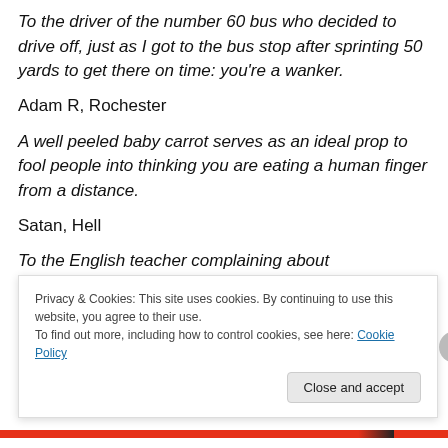To the driver of the number 60 bus who decided to drive off, just as I got to the bus stop after sprinting 50 yards to get there on time: you're a wanker.
Adam R, Rochester
A well peeled baby carrot serves as an ideal prop to fool people into thinking you are eating a human finger from a distance.
Satan, Hell
To the English teacher complaining about
Privacy & Cookies: This site uses cookies. By continuing to use this website, you agree to their use.
To find out more, including how to control cookies, see here: Cookie Policy
Close and accept